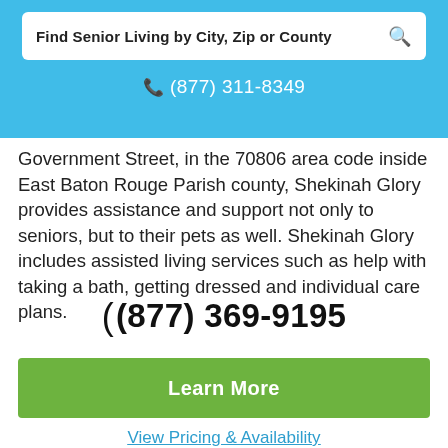Find Senior Living by City, Zip or County
(877) 311-8349
Government Street, in the 70806 area code inside East Baton Rouge Parish county, Shekinah Glory provides assistance and support not only to seniors, but to their pets as well. Shekinah Glory includes assisted living services such as help with taking a bath, getting dressed and individual care plans.
(877) 369-9195
Learn More
View Pricing & Availability